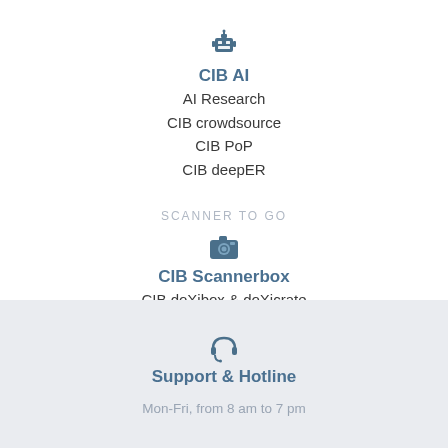[Figure (illustration): Robot/AI icon in dark blue-grey color]
CIB AI
AI Research
CIB crowdsource
CIB PoP
CIB deepER
SCANNER TO GO
[Figure (illustration): Camera icon in dark blue-grey color]
CIB Scannerbox
CIB doXibox & doXicrate
[Figure (illustration): Headset/support icon in dark blue-grey color]
Support & Hotline
Mon-Fri, from 8 am to 7 pm